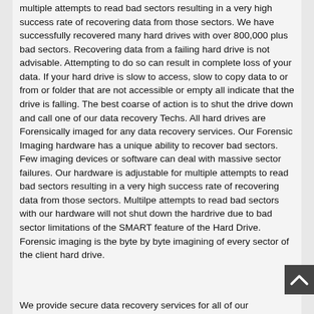multiple attempts to read bad sectors resulting in a very high success rate of recovering data from those sectors. We have successfully recovered many hard drives with over 800,000 plus bad sectors. Recovering data from a failing hard drive is not advisable. Attempting to do so can result in complete loss of your data. If your hard drive is slow to access, slow to copy data to or from or folder that are not accessible or empty all indicate that the drive is falling. The best coarse of action is to shut the drive down and call one of our data recovery Techs. All hard drives are Forensically imaged for any data recovery services. Our Forensic Imaging hardware has a unique ability to recover bad sectors. Few imaging devices or software can deal with massive sector failures. Our hardware is adjustable for multiple attempts to read bad sectors resulting in a very high success rate of recovering data from those sectors. Multilpe attempts to read bad sectors with our hardware will not shut down the hardrive due to bad sector limitations of the SMART feature of the Hard Drive. Forensic imaging is the byte by byte imagining of every sector of the client hard drive.
We provide secure data recovery services for all of our Corporate, Business and Home User Clients. Our clients data security is of utmost importance. Secure forensic imaging of our clients hard drives insures that the data on the original drive is never altered. All forensic images and recovered data is stored on individual hard drives in a locked and alarmed safe. Client data security for hard